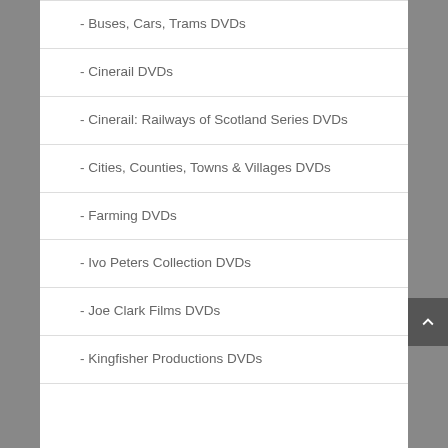- Buses, Cars, Trams DVDs
- Cinerail DVDs
- Cinerail: Railways of Scotland Series DVDs
- Cities, Counties, Towns & Villages DVDs
- Farming DVDs
- Ivo Peters Collection DVDs
- Joe Clark Films DVDs
- Kingfisher Productions DVDs